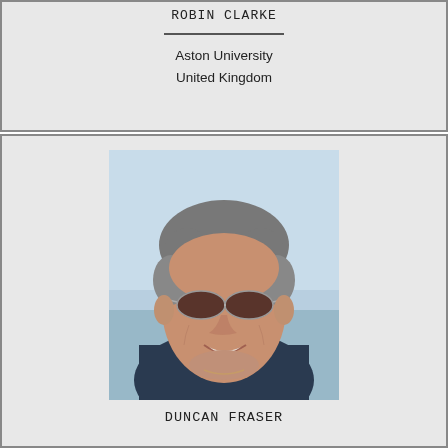ROBIN CLARKE
Aston University
United Kingdom
[Figure (photo): Headshot photo of Duncan Fraser, an older man with gray hair, wearing sunglasses with tinted brown lenses and a dark jacket, smiling outdoors with a light blue sky background.]
DUNCAN FRASER